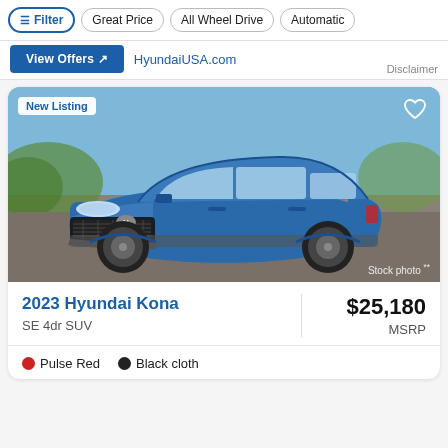Filter | Great Price | All Wheel Drive | Automatic
View Offers | HyundaiUSA.com | Disclaimer
[Figure (photo): Blue 2023 Hyundai Kona SUV driving on road, stock photo]
2023 Hyundai Kona
SE 4dr SUV
$25,180 MSRP
Pulse Red  Black cloth